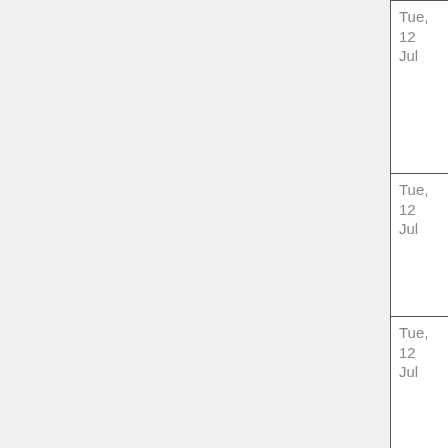| Date | Time | Room | Name | Chair |
| --- | --- | --- | --- | --- |
| Tue, 12 Jul | 15:00 | C669 | Andrei Voinescu | Spyros Voulga… |
| Tue, 12 Jul | 16:00 | C669 | Teodor Crivat | Herbe… |
| Tue, 12 Jul | 16:30 | C669 | Silviu Baranga | Herbe… |
| Tue, 12 Jul | 17:00 | C669 | Marius Sandu-Popa | Herbe… |
| Tue, |  |  | Traian |  |